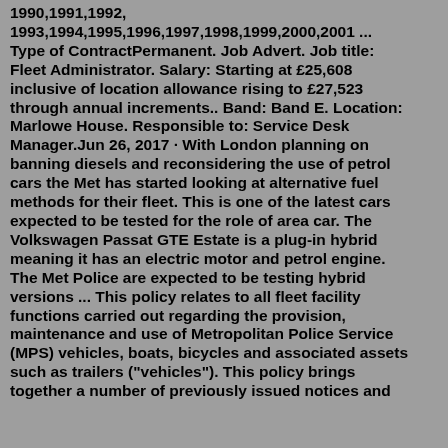1990,1991,1992, 1993,1994,1995,1996,1997,1998,1999,2000,2001 ... Type of ContractPermanent. Job Advert. Job title: Fleet Administrator. Salary: Starting at £25,608 inclusive of location allowance rising to £27,523 through annual increments.. Band: Band E. Location: Marlowe House. Responsible to: Service Desk Manager.Jun 26, 2017 · With London planning on banning diesels and reconsidering the use of petrol cars the Met has started looking at alternative fuel methods for their fleet. This is one of the latest cars expected to be tested for the role of area car. The Volkswagen Passat GTE Estate is a plug-in hybrid meaning it has an electric motor and petrol engine. The Met Police are expected to be testing hybrid versions ... This policy relates to all fleet facility functions carried out regarding the provision, maintenance and use of Metropolitan Police Service (MPS) vehicles, boats, bicycles and associated assets such as trailers ("vehicles"). This policy brings together a number of previously issued notices and